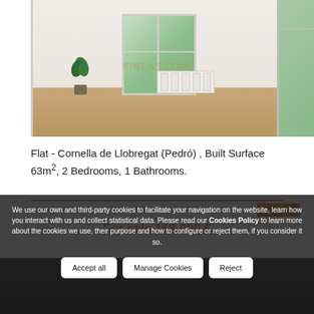[Figure (photo): Interior photo of empty flat room with wooden floor, white walls, a plant, central window and right-side window with greenery outside, a radiator, and a Fincasstar watermark overlay.]
Flat - Cornella de Llobregat (Pedró) , Built Surface 63m², 2 Bedrooms, 1 Bathrooms.
For sale 168.000 €
QUESTION?
We use our own and third-party cookies to facilitate your navigation on the website, learn how you interact with us and collect statistical data. Please read our Cookies Policy to learn more about the cookies we use, their purpose and how to configure or reject them, if you consider it so.